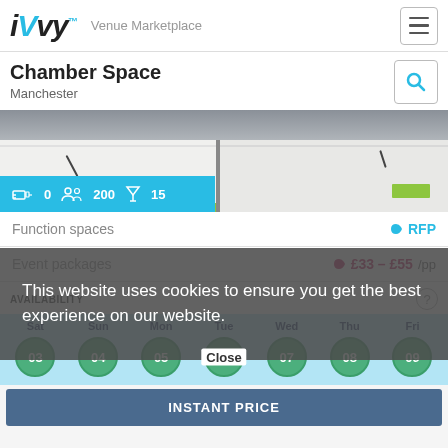iVvy Venue Marketplace
Chamber Space
Manchester
[Figure (photo): Photo of conference room tables with notepads, pens, and green nameplates. Cyan stats bar showing: 0 rooms, 200 people, 15 cocktail capacity.]
Function spaces   ♦ RFP
Event packages   ♦ £33 – £55 /pp
This website uses cookies to ensure you get the best experience on our website.
AVAILABILITY
Sat 03 | Sun 04 | Mon 05 | Tue 06 | Wed 07 | Thu 08 | Fri 09
INSTANT PRICE